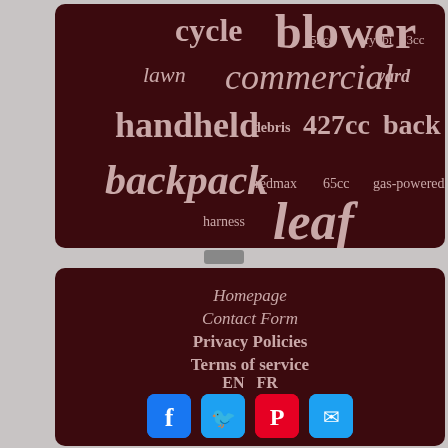[Figure (infographic): Word cloud on dark maroon background with terms: cycle, 52cc, ryobi, blower, 63cc, lawn, commercial, yard, handheld, debris, 427cc, back, backpack, redmax, 65cc, gas-powered, harness, leaf]
Homepage
Contact Form
Privacy Policies
Terms of service
EN   FR
[Figure (infographic): Social media buttons: Facebook (blue), Twitter (blue), Pinterest (red), Email (blue)]